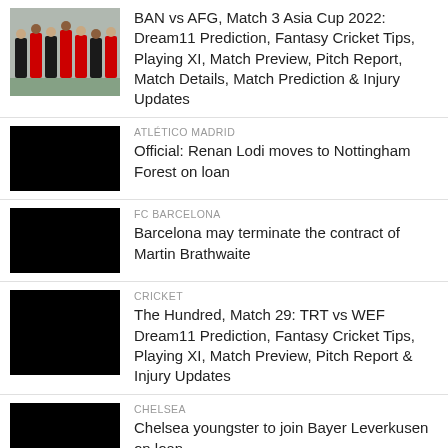[Figure (photo): Cricket players in red and black uniforms standing on field]
BAN vs AFG, Match 3 Asia Cup 2022: Dream11 Prediction, Fantasy Cricket Tips, Playing XI, Match Preview, Pitch Report, Match Details, Match Prediction & Injury Updates
[Figure (photo): Black redacted image - Atlético Madrid]
ATLÉTICO MADRID
Official: Renan Lodi moves to Nottingham Forest on loan
[Figure (photo): Black redacted image - FC Barcelona]
FC BARCELONA
Barcelona may terminate the contract of Martin Brathwaite
[Figure (photo): Black redacted image - Cricket]
CRICKET
The Hundred, Match 29: TRT vs WEF Dream11 Prediction, Fantasy Cricket Tips, Playing XI, Match Preview, Pitch Report & Injury Updates
[Figure (photo): Black redacted image - Chelsea]
CHELSEA
Chelsea youngster to join Bayer Leverkusen on loan
[Figure (photo): Black redacted image - Formula 1]
FORMULA 1